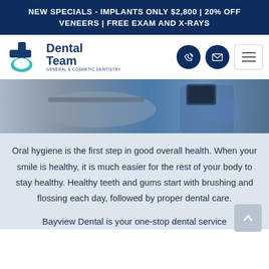NEW SPECIALS - IMPLANTS ONLY $2,800 | 20% OFF VENEERS | FREE EXAM AND X-RAYS
[Figure (logo): Dental Team General & Cosmetic Dentistry logo with phone and email icon buttons and hamburger menu]
[Figure (photo): Dental chair and practitioner in blue scrubs shown in cropped hero image]
Oral hygiene is the first step in good overall health. When your smile is healthy, it is much easier for the rest of your body to stay healthy. Healthy teeth and gums start with brushing and flossing each day, followed by proper dental care.
Bayview Dental is your one-stop dental service